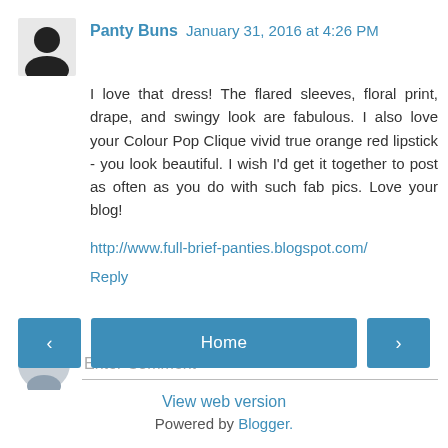Panty Buns  January 31, 2016 at 4:26 PM
I love that dress! The flared sleeves, floral print, drape, and swingy look are fabulous. I also love your Colour Pop Clique vivid true orange red lipstick - you look beautiful. I wish I'd get it together to post as often as you do with such fab pics. Love your blog!
http://www.full-brief-panties.blogspot.com/
Reply
Enter Comment
Home
View web version
Powered by Blogger.